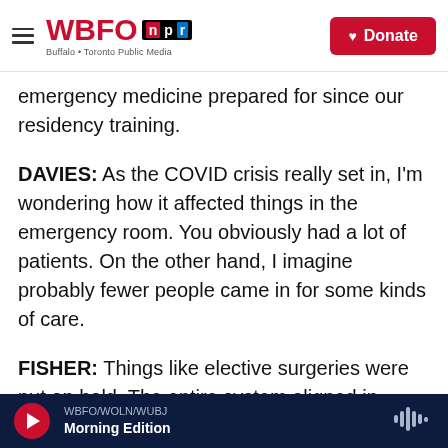WBFO NPR — Buffalo + Toronto Public Media | Donate
emergency medicine prepared for since our residency training.
DAVIES: As the COVID crisis really set in, I'm wondering how it affected things in the emergency room. You obviously had a lot of patients. On the other hand, I imagine probably fewer people came in for some kinds of care.
FISHER: Things like elective surgeries were put on hold. The entire system aligned in order to get people from the emergency department into hospital beds as quickly as possible. When you
WBFO/WOLN/WUBJ — Morning Edition